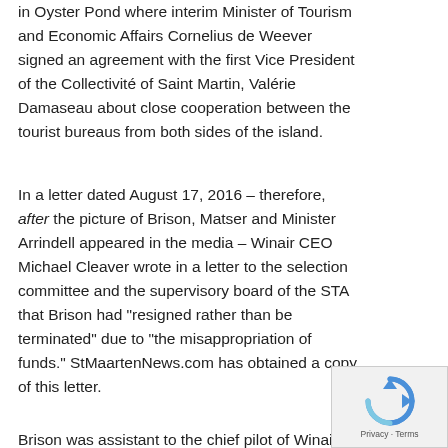in Oyster Pond where interim Minister of Tourism and Economic Affairs Cornelius de Weever signed an agreement with the first Vice President of the Collectivité of Saint Martin, Valérie Damaseau about close cooperation between the tourist bureaus from both sides of the island.
In a letter dated August 17, 2016 – therefore, after the picture of Brison, Matser and Minister Arrindell appeared in the media – Winair CEO Michael Cleaver wrote in a letter to the selection committee and the supervisory board of the STA that Brison had "resigned rather than be terminated" due to "the misappropriation of funds." StMaartenNews.com has obtained a copy of this letter.
Brison was assistant to the chief pilot of Winair